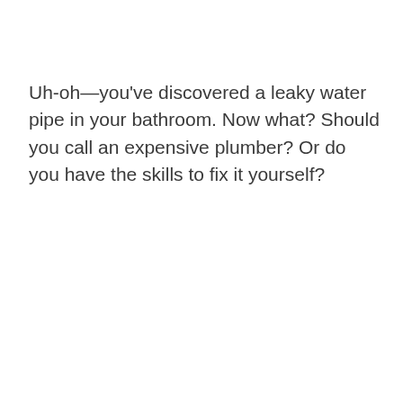Uh-oh—you've discovered a leaky water pipe in your bathroom. Now what? Should you call an expensive plumber? Or do you have the skills to fix it yourself?